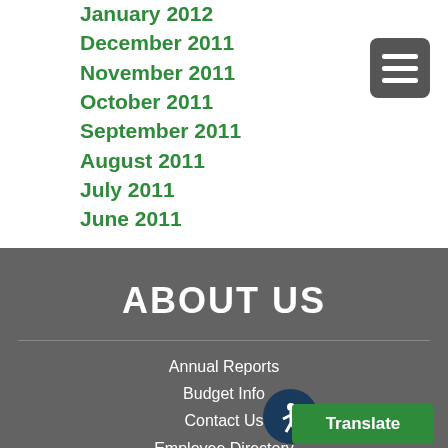January 2012
December 2011
November 2011
October 2011
September 2011
August 2011
July 2011
June 2011
ABOUT US
Annual Reports
Budget Info
Contact Us
Employee Directory
Facts